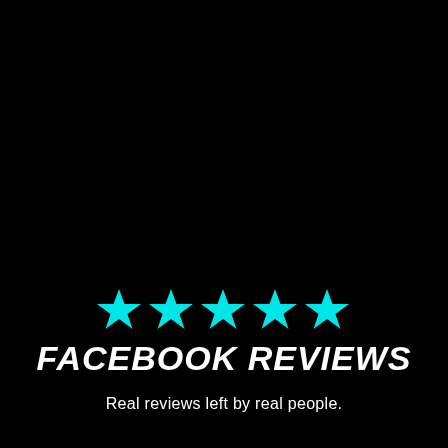[Figure (illustration): Five cyan/turquoise five-pointed stars arranged in a row, representing a 5-star rating]
FACEBOOK REVIEWS
Real reviews left by real people.